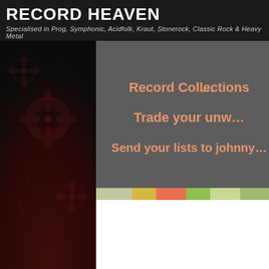RECORD HEAVEN
Specialised in Prog, Symphonic, Acidfolk, Kraut, Stonerock, Classic Rock & Heavy Metal
[Figure (screenshot): Dark floral patterned sidebar background in dark maroon/brown tones]
[Figure (screenshot): Banner with text: Record Collections | Trade your unw... | Send your lists to johnny... on a dark grey noisy background, text in orange]
[Figure (screenshot): Narrow strip with colorful record covers]
[Figure (screenshot): Black banner at bottom with partial white logo/lettering visible]